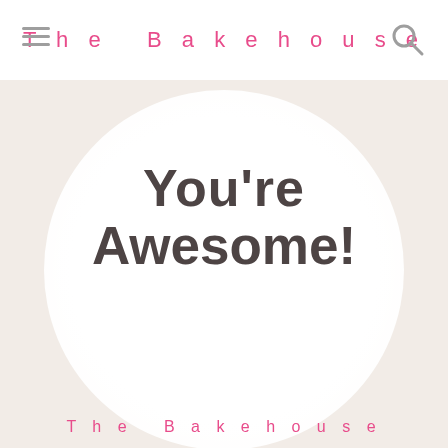The Bakehouse
[Figure (photo): A round white button/badge on a beige background with text 'You're Awesome!' in dark gray bold font. Below the badge text reads 'The Bakehouse' in pink spaced lettering.]